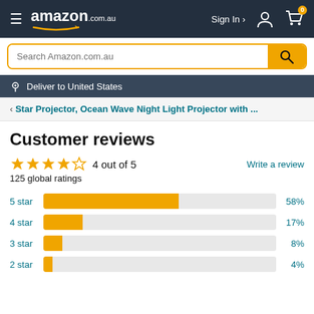amazon.com.au — Sign In — Cart 0
Search Amazon.com.au
Deliver to United States
< Star Projector, Ocean Wave Night Light Projector with ...
Customer reviews
4 out of 5 — 125 global ratings
[Figure (bar-chart): Star rating distribution]